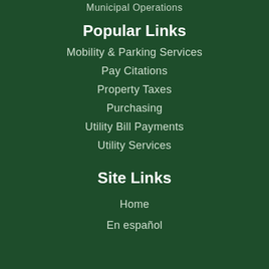Municipal Operations
Popular Links
Mobility & Parking Services
Pay Citations
Property Taxes
Purchasing
Utility Bill Payments
Utility Services
Site Links
Home
En español